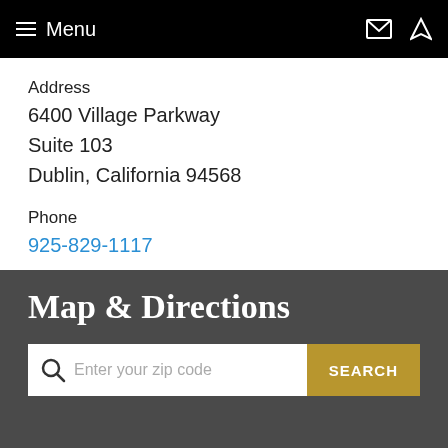Menu
Address
6400 Village Parkway
Suite 103
Dublin, California 94568
Phone
925-829-1117
Map & Directions
Enter your zip code  SEARCH